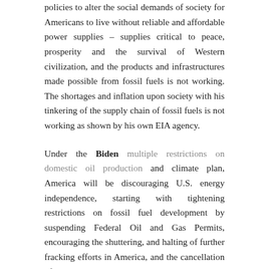policies to alter the social demands of society for Americans to live without reliable and affordable power supplies – supplies critical to peace, prosperity and the survival of Western civilization, and the products and infrastructures made possible from fossil fuels is not working. The shortages and inflation upon society with his tinkering of the supply chain of fossil fuels is not working as shown by his own EIA agency.
Under the Biden multiple restrictions on domestic oil production and climate plan, America will be discouraging U.S. energy independence, starting with tightening restrictions on fossil fuel development by suspending Federal Oil and Gas Permits, encouraging the shuttering, and halting of further fracking efforts in America, and the cancellation of the Keystone XL pipeline.
To reduce civilization's demands for fossil fuels will require significant social changes to reduce the need for so many